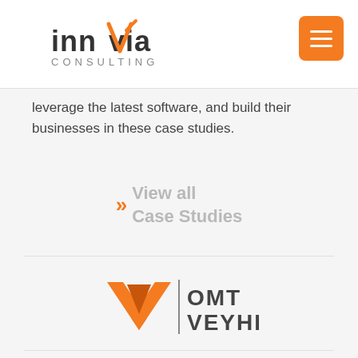What Others Like You Are Doing
[Figure (logo): Innovia Consulting logo with orange checkmark]
[Figure (other): Orange hamburger menu button]
Learn how Innovia customers solve business problems
leverage the latest software, and build their businesses in these case studies.
View all Case Studies
[Figure (logo): OMT Veyhl logo with orange wing emblem and vertical bar separator]